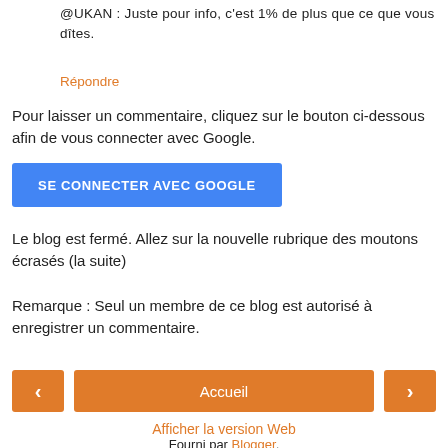@UKAN : Juste pour info, c'est 1% de plus que ce que vous dîtes.
Répondre
Pour laisser un commentaire, cliquez sur le bouton ci-dessous afin de vous connecter avec Google.
[Figure (other): Blue button labeled SE CONNECTER AVEC GOOGLE]
Le blog est fermé. Allez sur la nouvelle rubrique des moutons écrasés (la suite)
Remarque : Seul un membre de ce blog est autorisé à enregistrer un commentaire.
[Figure (other): Navigation bar with orange left arrow button, orange Accueil center button, and orange right arrow button]
Afficher la version Web
Fourni par Blogger.